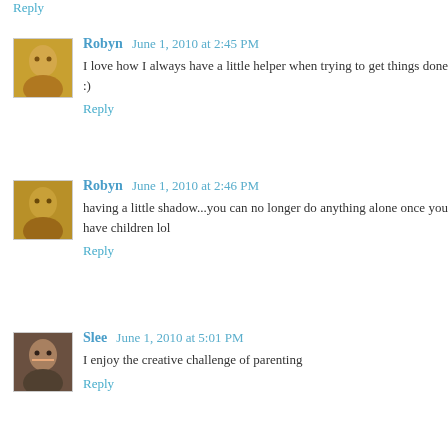Reply
Robyn  June 1, 2010 at 2:45 PM
I love how I always have a little helper when trying to get things done :)
Reply
Robyn  June 1, 2010 at 2:46 PM
having a little shadow...you can no longer do anything alone once you have children lol
Reply
Slee  June 1, 2010 at 5:01 PM
I enjoy the creative challenge of parenting
Reply